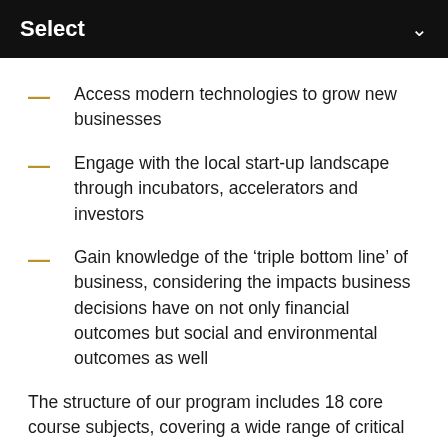Select
Access modern technologies to grow new businesses
Engage with the local start-up landscape through incubators, accelerators and investors
Gain knowledge of the ‘triple bottom line’ of business, considering the impacts business decisions have on not only financial outcomes but social and environmental outcomes as well
The structure of our program includes 18 core course subjects, covering a wide range of critical